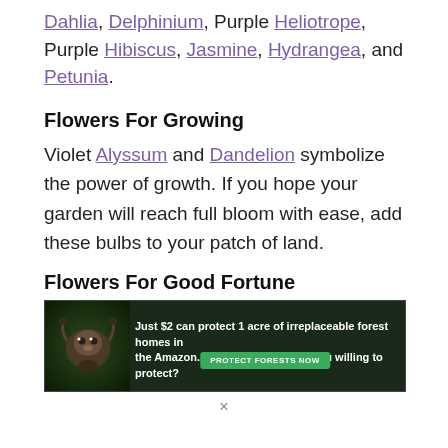Dahlia, Delphinium, Purple Heliotrope, Purple Hibiscus, Jasmine, Hydrangea, and Petunia.
Flowers For Growing
Violet Alyssum and Dandelion symbolize the power of growth. If you hope your garden will reach full bloom with ease, add these bulbs to your patch of land.
Flowers For Good Fortune
[Figure (other): Advertisement banner: 'Just $2 can protect 1 acre of irreplaceable forest homes in the Amazon. How many acres are you willing to protect?' with a green 'PROTECT FORESTS NOW' button and a dark forest background with a sloth image.]
×